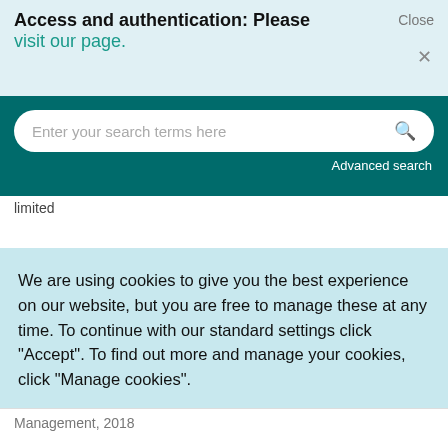Access and authentication: Please visit our page.
Enter your search terms here
Advanced search
limited
We are using cookies to give you the best experience on our website, but you are free to manage these at any time. To continue with our standard settings click "Accept". To find out more and manage your cookies, click "Manage cookies".
Accept
Manage cookies
Management, 2018